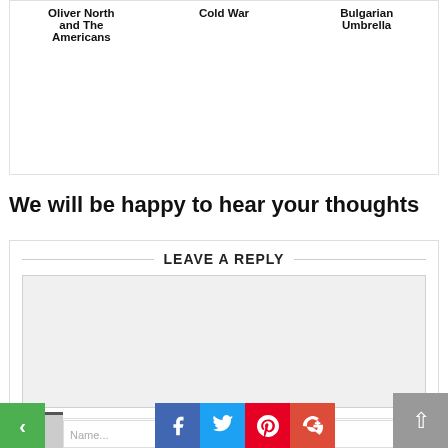| Oliver North and The Americans | Cold War | Bulgarian Umbrella |
| --- | --- | --- |
We will be happy to hear your thoughts
LEAVE A REPLY
[Figure (screenshot): Comment text area input field (empty, light gray background)]
Name...
[Figure (infographic): Social media share buttons: Facebook (blue), Twitter (light blue), Pinterest (red), Google+ (red-orange)]
[Figure (screenshot): Navigation: green left arrow button, green right arrow button, gray scroll-to-top button]